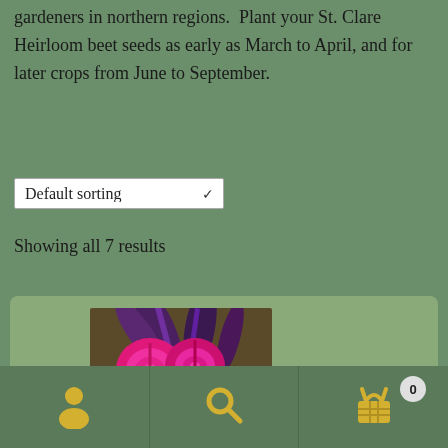gardeners in northern regions.  Plant your St. Clare Heirloom beet seeds as early as March to April, and for later crops from June to September.
Default sorting
Showing all 7 results
[Figure (photo): Photo of beets in a wicker basket, showing whole dark purple beets and sliced bright pink/magenta beet cross-sections with purple leafy stems]
Beet – Bull's Blood
User icon | Search icon | Basket icon with badge 0